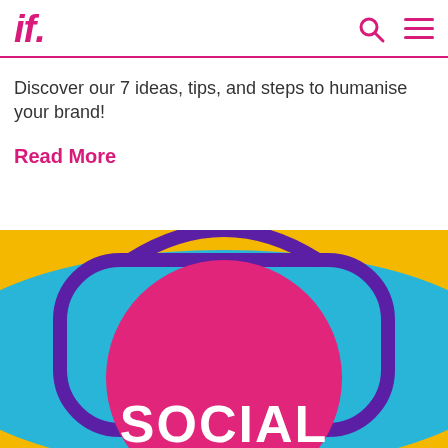if.
Discover our 7 ideas, tips, and steps to humanise your brand!
Read More
[Figure (illustration): Yellow background with blue wave shape and purple-outlined bag/frame shape. A large magenta circle is centered on it with white bold text reading 'SOCIAL' at the bottom.]